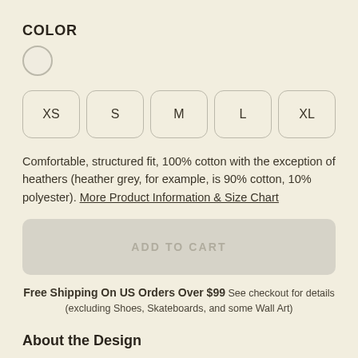COLOR
[Figure (other): A single circular color swatch in off-white/cream color with a grey border]
[Figure (other): Five size selector buttons labeled XS, S, M, L, XL arranged in a row]
Comfortable, structured fit, 100% cotton with the exception of heathers (heather grey, for example, is 90% cotton, 10% polyester). More Product Information & Size Chart
[Figure (other): Greyed out Add to Cart button]
Free Shipping On US Orders Over $99 See checkout for details (excluding Shoes, Skateboards, and some Wall Art)
About the Design
For hundreds of years, she's been practicing her magic and seduction. With fireball in hand, Sparkle Fox is here to charm herself into the hearts of men and earn their trust before showing